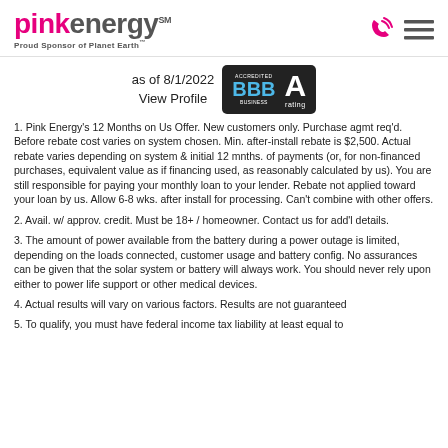Pink Energy — Proud Sponsor of Planet Earth
[Figure (logo): BBB Accredited Business A+ rating badge, displayed alongside 'as of 8/1/2022 View Profile' text]
1. Pink Energy's 12 Months on Us Offer. New customers only. Purchase agmt req'd. Before rebate cost varies on system chosen. Min. after-install rebate is $2,500. Actual rebate varies depending on system & initial 12 mnths. of payments (or, for non-financed purchases, equivalent value as if financing used, as reasonably calculated by us). You are still responsible for paying your monthly loan to your lender. Rebate not applied toward your loan by us. Allow 6-8 wks. after install for processing. Can't combine with other offers.
2. Avail. w/ approv. credit. Must be 18+ / homeowner. Contact us for add'l details.
3. The amount of power available from the battery during a power outage is limited, depending on the loads connected, customer usage and battery config. No assurances can be given that the solar system or battery will always work. You should never rely upon either to power life support or other medical devices.
4. Actual results will vary on various factors. Results are not guaranteed
5. To qualify, you must have federal income tax liability at least equal to